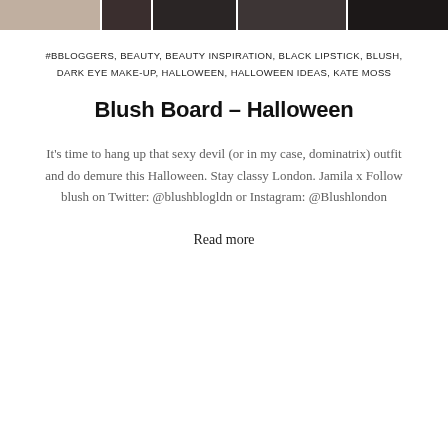[Figure (photo): A strip of five portrait photos showing faces with dark makeup for Halloween]
#BBLOGGERS, BEAUTY, BEAUTY INSPIRATION, BLACK LIPSTICK, BLUSH, DARK EYE MAKE-UP, HALLOWEEN, HALLOWEEN IDEAS, KATE MOSS
Blush Board – Halloween
It's time to hang up that sexy devil (or in my case, dominatrix) outfit and do demure this Halloween. Stay classy London. Jamila x Follow blush on Twitter: @blushblogldn or Instagram: @Blushlondon
Read more